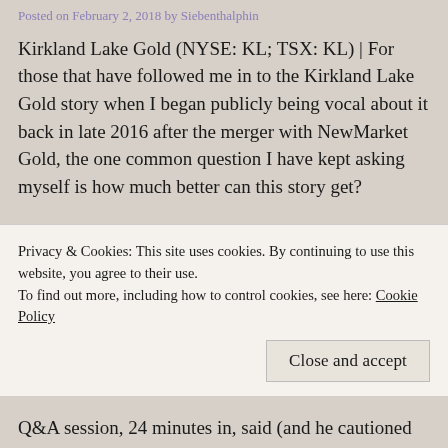Posted on February 2, 2018 by Siebenthalphin
Kirkland Lake Gold (NYSE: KL; TSX: KL) | For those that have followed me in to the Kirkland Lake Gold story when I began publicly being vocal about it back in late 2016 after the merger with NewMarket Gold, the one common question I have kept asking myself is how much better can this story get?
I met Tony Makuch for the first time back in August of 2017 when KL hosted a luncheon after listing on the New York Stock exchange. Back then, he pontificated ever so casually to the room of maybe 15 people that he would have Fort, will during a...
Privacy & Cookies: This site uses cookies. By continuing to use this website, you agree to their use.
To find out more, including how to control cookies, see here: Cookie Policy
Q&A session, 24 minutes in, said (and he cautioned